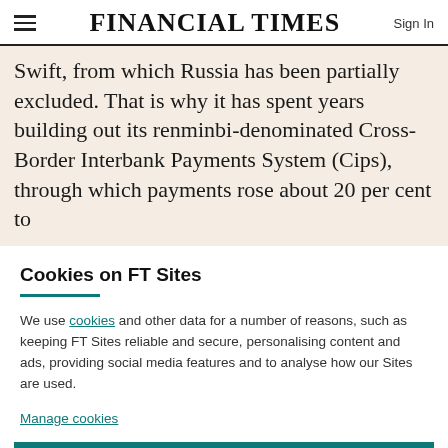FINANCIAL TIMES
Swift, from which Russia has been partially excluded. That is why it has spent years building out its renminbi-denominated Cross-Border Interbank Payments System (Cips), through which payments rose about 20 per cent to
Cookies on FT Sites
We use cookies and other data for a number of reasons, such as keeping FT Sites reliable and secure, personalising content and ads, providing social media features and to analyse how our Sites are used.
Manage cookies
Accept & continue